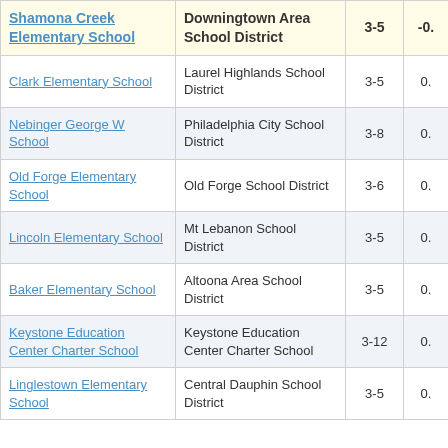| School | District | Grades | Score |
| --- | --- | --- | --- |
| Shamona Creek Elementary School | Downingtown Area School District | 3-5 | -0. |
| Clark Elementary School | Laurel Highlands School District | 3-5 | 0. |
| Nebinger George W School | Philadelphia City School District | 3-8 | 0. |
| Old Forge Elementary School | Old Forge School District | 3-6 | 0. |
| Lincoln Elementary School | Mt Lebanon School District | 3-5 | 0. |
| Baker Elementary School | Altoona Area School District | 3-5 | 0. |
| Keystone Education Center Charter School | Keystone Education Center Charter School | 3-12 | 0. |
| Linglestown Elementary School | Central Dauphin School District | 3-5 | 0. |